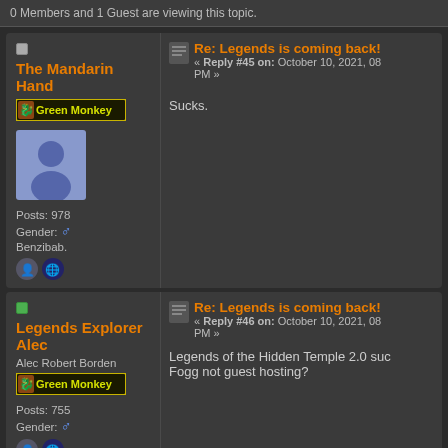0 Members and 1 Guest are viewing this topic.
The Mandarin Hand
[Figure (other): Green Monkey rank badge with dragon icon]
[Figure (other): Default user avatar - blue silhouette person on light blue background]
Posts: 978
Gender: male symbol
Benzibab.
Re: Legends is coming back!
« Reply #45 on: October 10, 2021, 08 PM »
Sucks.
Legends Explorer Alec
Alec Robert Borden
[Figure (other): Green Monkey rank badge with dragon icon]
Posts: 755
Gender: male symbol
Re: Legends is coming back!
« Reply #46 on: October 10, 2021, 08 PM »
Legends of the Hidden Temple 2.0 suc Fogg not guest hosting?
[Figure (other): Four team mascot icons at bottom: red jaguar, blue barracuda, green monkey, orange snake]